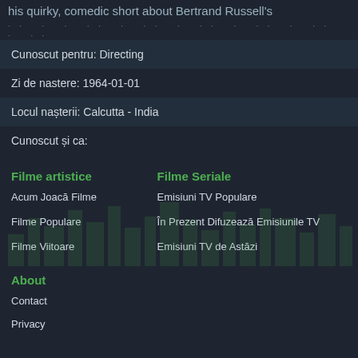his quirky, comedic short about Bertrand Russell's
· · · · · · · · · · · · · · · · · · · · · · · ·
Cunoscut pentru: Directing
Zi de nastere: 1964-01-01
Locul nașterii: Calcutta - India
Cunoscut și ca:
Filme artistice
Filme Seriale
Acum Joacă Filme
Emisiuni TV Populare
Filme Populare
În Prezent Difuzează Emisiunile TV
Filme Viitoare
Emisiuni TV de Astăzi
About
Contact
Privacy